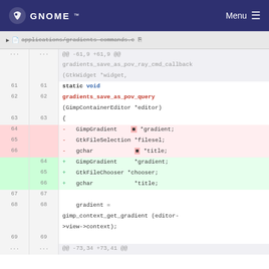GNOME   Menu
applications/gradients-commands.c [copy icon]
@@ -61,9 +61,9 @@
gradients_save_as_pov_ray_cmd_callback
(GtkWidget *widget,
61  61  static void
62  62  gradients_save_as_pov_query
    (GimpContainerEditor *editor)
63  63  {
64     - GimpGradient    *gradient;
65     - GtkFileSelection *filesel;
66     - gchar            *title;
    64  + GimpGradient     *gradient;
    65  + GtkFileChooser *chooser;
    66  + gchar            *title;
67  67
68  68  gradient =
gimp_context_get_gradient (editor->view->context);
69  69
... ...  @@ -73,34 +73,41 @@